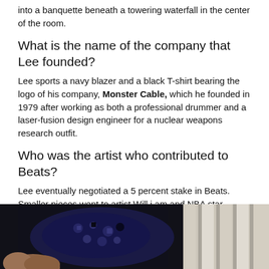into a banquette beneath a towering waterfall in the center of the room.
What is the name of the company that Lee founded?
Lee sports a navy blazer and a black T-shirt bearing the logo of his company, Monster Cable, which he founded in 1979 after working as both a professional drummer and a laser-fusion design engineer for a nuclear weapons research outfit.
Who was the artist who contributed to Beats?
Lee eventually negotiated a 5 percent stake in Beats. Smaller pieces went to artist Will.i.am and NBA star LeBron James, both of whom would go on to play a key role in Beats' development. Of course, the entertainer who contributed the most to the project was the one who gave it his name.
[Figure (photo): Two-panel photo: left side shows a dark bandana with paisley pattern being held by a hand, right side shows vertical window blinds in light beige tones.]